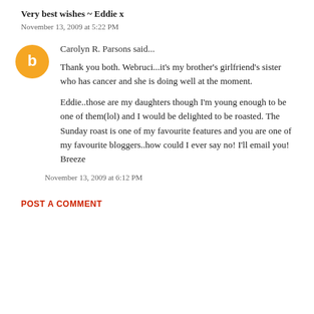Very best wishes ~ Eddie x
November 13, 2009 at 5:22 PM
Carolyn R. Parsons said...
Thank you both. Webruci...it's my brother's girlfriend's sister who has cancer and she is doing well at the moment.

Eddie..those are my daughters though I'm young enough to be one of them(lol) and I would be delighted to be roasted. The Sunday roast is one of my favourite features and you are one of my favourite bloggers..how could I ever say no! I'll email you!
Breeze
November 13, 2009 at 6:12 PM
POST A COMMENT